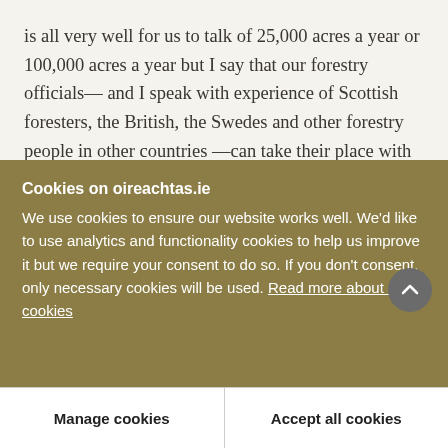is all very well for us to talk of 25,000 acres a year or 100,000 acres a year but I say that our forestry officials— and I speak with experience of Scottish foresters, the British, the Swedes and other forestry people in other countries —can take their place with the best in the world. They are certainly much better than many that I know of and I want to take this opportunity of saying so in the House.

When the Minister is replying, perhaps he would tell us whether we are to stick at the 25,000 acres
Cookies on oireachtas.ie
We use cookies to ensure our website works well. We'd like to use analytics and functionality cookies to help us improve it but we require your consent to do so. If you don't consent, only necessary cookies will be used. Read more about our cookies
Manage cookies
Accept all cookies